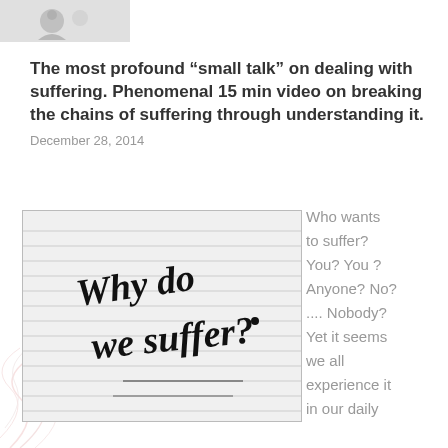[Figure (photo): Small cropped thumbnail image at top left, appears to be a social media icon or profile image, partially visible]
The most profound “small talk” on dealing with suffering. Phenomenal 15 min video on breaking the chains of suffering through understanding it.
December 28, 2014
[Figure (photo): Black and white photograph of lined notebook paper with handwritten text reading 'Why do we suffer?' in large marker script]
Who wants to suffer? You? You ? Anyone? No? .... Nobody? Yet it seems we all experience it in our daily